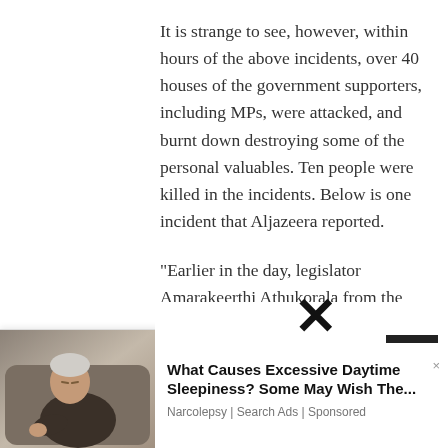It is strange to see, however, within hours of the above incidents, over 40 houses of the government supporters, including MPs, were attacked, and burnt down destroying some of the personal valuables. Ten people were killed in the incidents. Below is one incident that Aljazeera reported.
“Earlier in the day, legislator Amarakeerthi Athukorala from the ruling party shot two people – killing a 27-year-old man – after being surrounded by a mob in Nittambuwa, about 40km (25 miles) from Colombo, police
[Figure (photo): Advertisement overlay showing a sleeping/drowsy elderly man in an armchair, with ad text about Excessive Daytime Sleepiness]
What Causes Excessive Daytime Sleepiness? Some May Wish The...
Narcolepsy | Search Ads | Sponsored